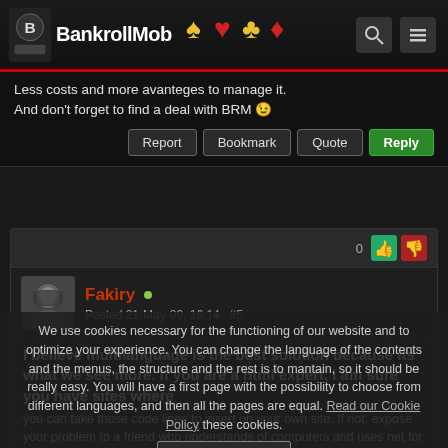The BankrollMob
Less costs and more avanteges to manage it. And don't forget to find a deal with BRM 😉
Report | Bookmark | Quote | Reply
0
Fakiry • Posted 21-May-09, 16:14 #5
I believe multilanguage is the best solution because its what we see more. If you are a html expert, i am sure you have sites where you can take those code lines to insert on your own site. If not, expose your problem to a friend who understands of computers and uses net for work, normally this type of guys knows how to do that. Basically you only want change the language of the contents and the menus, the structure and the rest is to mantain, so it should be really easy. You will have a first page with the possibility to choose from different languages, and then all the pages are equal, with the difference of the contents language. Go to html forums and ask that, they sure give you the best answer and show you the easier solutions!
We use cookies necessary for the functioning of our website and to optimize your experience. You can change the language of the contents and the menus, the structure and the rest is to mantain, so it should be really easy. You will have a first page with the possibility to choose from different languages, and then all the pages are equal. Read our Cookie Policy these cookies.
Understood